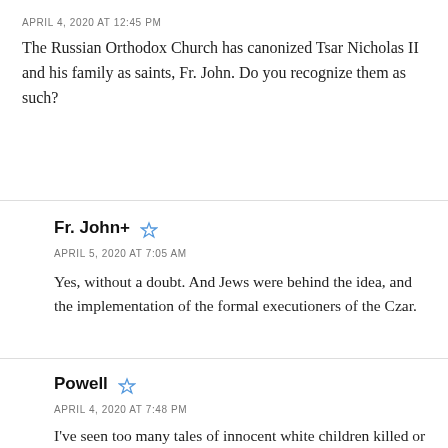APRIL 4, 2020 AT 12:45 PM
The Russian Orthodox Church has canonized Tsar Nicholas II and his family as saints, Fr. John. Do you recognize them as such?
Fr. John+
APRIL 5, 2020 AT 7:05 AM
Yes, without a doubt. And Jews were behind the idea, and the implementation of the formal executioners of the Czar.
Powell
APRIL 4, 2020 AT 7:48 PM
I've seen too many tales of innocent white children killed or ravaged by deliberate or negligent acts of sub-